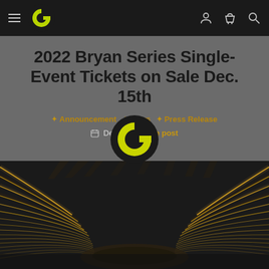Navigation bar with logo and icons
2022 Bryan Series Single-Event Tickets on Sale Dec. 15th
Announcement  News  Press Release
Dec 14  Share post
[Figure (photo): Interior view of an arena/stadium with curved rows of seats lit by strip lighting, viewed from above at an angle, dark ambiance.]